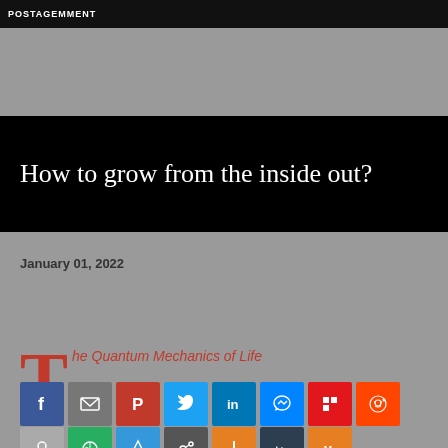POSTAGEMMENT
How to grow from the inside out?
January 01, 2022
The Quantum Mechanics of Life
[Figure (infographic): Social media share buttons row 1: Facebook, Email, Pinterest, Twitter, LinkedIn, Messenger, Flipboard, Reddit]
[Figure (infographic): Social media share buttons row 2: partial row of additional share buttons]